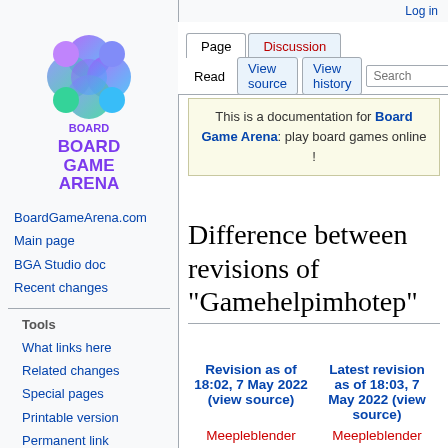Log in
[Figure (logo): Board Game Arena logo with colorful icon and purple/blue text]
BoardGameArena.com
Main page
BGA Studio doc
Recent changes
Tools
What links here
Related changes
Special pages
Printable version
Permanent link
Page information
This is a documentation for Board Game Arena: play board games online !
Difference between revisions of "Gamehelpimhotep"
| Revision as of 18:02, 7 May 2022 (view source) | Latest revision as of 18:03, 7 May 2022 (view source) |
| --- | --- |
| Meepleblender | Meepleblender |